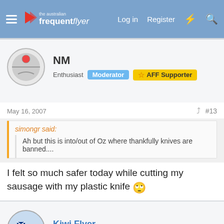the australian frequent flyer — Log in  Register
NM
Enthusiast  Moderator  AFF Supporter
May 16, 2007  #13
simongr said:
Ah but this is into/out of Oz where thankfully knives are banned....
I felt so much safer today while cutting my sausage with my plastic knife 🙄
Kiwi Flyer
Senior Member
May 16, 2007  #14
You mean you actually got the knife to cut!